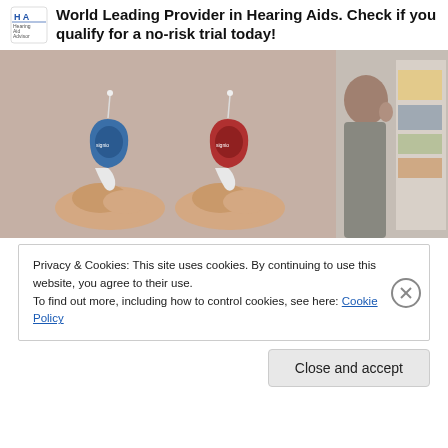World Leading Provider in Hearing Aids. Check if you qualify for a no-risk trial today!
[Figure (photo): Two Signia hearing aids (one blue, one red) being held between fingers against a beige background, and a partial side image of a person near a bookshelf.]
Privacy & Cookies: This site uses cookies. By continuing to use this website, you agree to their use.
To find out more, including how to control cookies, see here: Cookie Policy
Close and accept